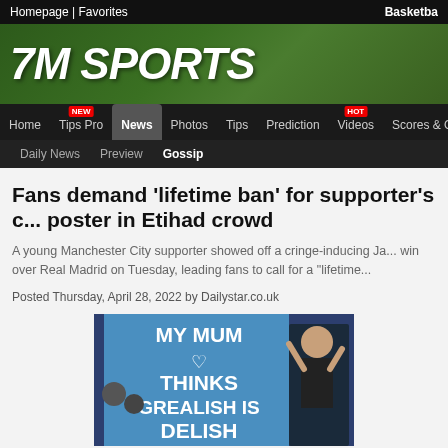Homepage | Favorites    Basketba...
7M SPORTS
Home  Tips Pro  News  Photos  Tips  Prediction  Videos  Scores & Odds
Daily News  Preview  Gossip
Fans demand 'lifetime ban' for supporter's c... poster in Etihad crowd
A young Manchester City supporter showed off a cringe-inducing Ja... win over Real Madrid on Tuesday, leading fans to call for a "lifetime...
Posted Thursday, April 28, 2022 by Dailystar.co.uk
[Figure (photo): Sign reading MY MUM THINKS GREALISH IS DELISH held in crowd, with man celebrating in background]